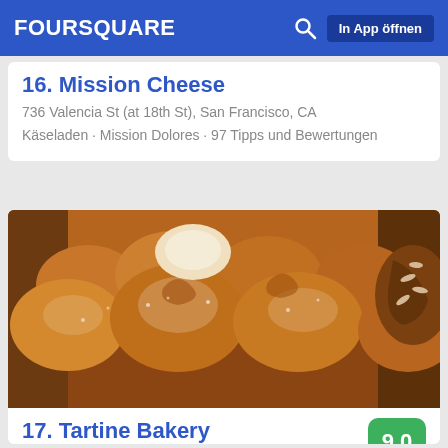FOURSQUARE  In App öffnen
16. Mission Cheese
736 Valencia St (at 18th St), San Francisco, CA
Käseladen · Mission Dolores · 97 Tipps und Bewertungen
[Figure (photo): Close-up photo of sugar-dusted pastries and cinnamon rolls piled on a tray at a bakery]
17. Tartine Bakery
600 Guerrero St (at 18th St), San Francisco, CA
Bäckerei · Mission Dolores · 768 Tipps und Bewertungen